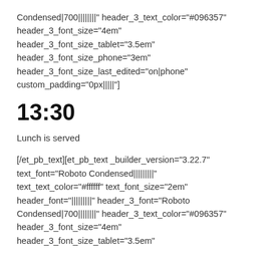Condensed|700||||||||" header_3_text_color="#096357" header_3_font_size="4em" header_3_font_size_tablet="3.5em" header_3_font_size_phone="3em" header_3_font_size_last_edited="on|phone" custom_padding="0px|||||"]
13:30
Lunch is served
[/et_pb_text][et_pb_text _builder_version="3.22.7" text_font="Roboto Condensed|||||||||" text_text_color="#ffffff" text_font_size="2em" header_font="|||||||||" header_3_font="Roboto Condensed|700||||||||" header_3_text_color="#096357" header_3_font_size="4em" header_3_font_size_tablet="3.5em"